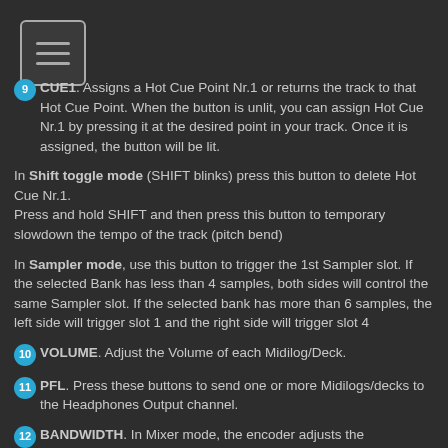[Figure (other): Hamburger menu icon button (three horizontal lines in a rounded square border)]
CUE1. Assigns a Hot Cue Point Nr.1 or returns the track to that Hot Cue Point. When the button is unlit, you can assign Hot Cue Nr.1 by pressing it at the desired point in your track. Once it is assigned, the button will be lit.

In Shift toggle mode (SHIFT blinks) press this button to delete Hot Cue Nr.1.
Press and hold SHIFT and then press this button to temporary slowdown the tempo of the track (pitch bend)

In Sampler mode, use this button to trigger the 1st Sampler slot. If the selected Bank has less than 4 samples, both sides will control the same Sampler slot. If the selected bank has more than 6 samples, the left side will trigger slot 1 and the right side will trigger slot 4
VOLUME. Adjust the Volume of each Midilog/Deck.
PFL. Press these buttons to send one or more Midilogs/decks to the Headphones Output channel.
BANDWIDTH. In Mixer mode, the encoder adjusts the